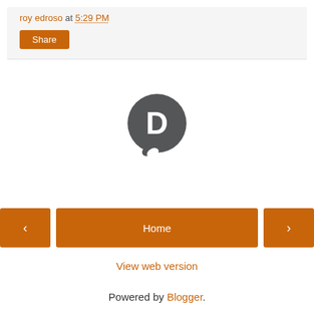roy edroso at 5:29 PM
Share
[Figure (logo): Disqus chat bubble logo with a white letter D on dark grey circle with speech bubble tail]
< Home >
View web version
Powered by Blogger.